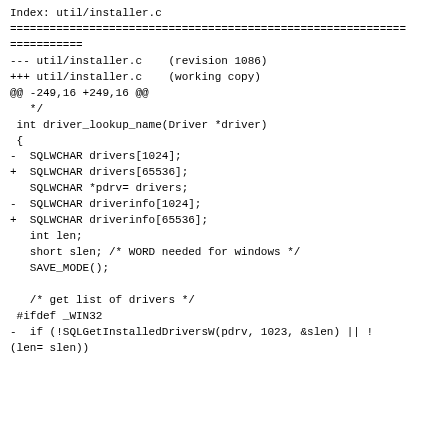Index: util/installer.c
============================================================
===========
--- util/installer.c    (revision 1086)
+++ util/installer.c    (working copy)
@@ -249,16 +249,16 @@
   */
 int driver_lookup_name(Driver *driver)
 {
-  SQLWCHAR drivers[1024];
+  SQLWCHAR drivers[65536];
    SQLWCHAR *pdrv= drivers;
-  SQLWCHAR driverinfo[1024];
+  SQLWCHAR driverinfo[65536];
    int len;
    short slen; /* WORD needed for windows */
    SAVE_MODE();

    /* get list of drivers */
 #ifdef _WIN32
-  if (!SQLGetInstalledDriversW(pdrv, 1023, &slen) || !
(len= slen))